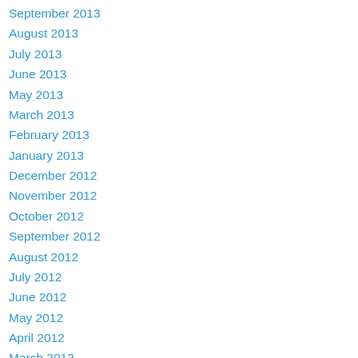September 2013
August 2013
July 2013
June 2013
May 2013
March 2013
February 2013
January 2013
December 2012
November 2012
October 2012
September 2012
August 2012
July 2012
June 2012
May 2012
April 2012
March 2012
November 2011
October 2011